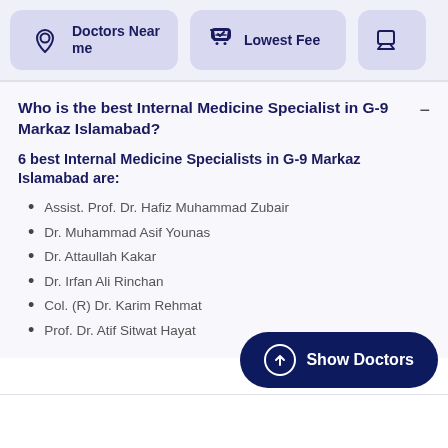[Figure (screenshot): Top navigation bar with 'Doctors Near me', 'Lowest Fee', and a third partially visible icon button]
Who is the best Internal Medicine Specialist in G-9 Markaz Islamabad?
6 best Internal Medicine Specialists in G-9 Markaz Islamabad are:
Assist. Prof. Dr. Hafiz Muhammad Zubair
Dr. Muhammad Asif Younas
Dr. Attaullah Kakar
Dr. Irfan Ali Rinchan
Col. (R) Dr. Karim Rehmat
Prof. Dr. Atif Sitwat Hayat
Who are the most experienced Internal Medicine Specialist in G-9 Markaz Islamabad?
4 most experienced Internal Medicine Specialists in